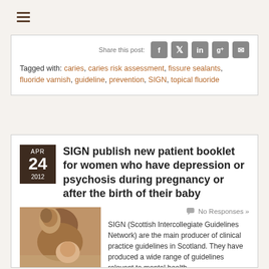☰
Tagged with: caries, caries risk assessment, fissure sealants, fluoride varnish, guideline, prevention, SIGN, topical fluoride
SIGN publish new patient booklet for women who have depression or psychosis during pregnancy or after the birth of their baby
No Responses »
[Figure (photo): A mother and baby photograph showing close-up of mother and infant]
SIGN (Scottish Intercollegiate Guidelines Network) are the main producer of clinical practice guidelines in Scotland. They have produced a wide range of guidelines relevant to mental health